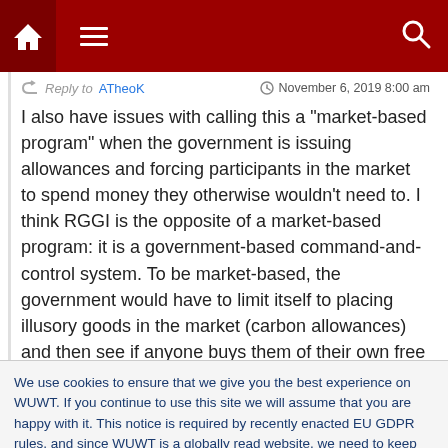[Figure (screenshot): Website navigation bar with dark red background, home icon, hamburger menu icon, and search icon]
Reply to ATheoK  November 6, 2019 8:00 am
I also have issues with calling this a "market-based program" when the government is issuing allowances and forcing participants in the market to spend money they otherwise wouldn't need to. I think RGGI is the opposite of a market-based program: it is a government-based command-and-control system. To be market-based, the government would have to limit itself to placing illusory goods in the market (carbon allowances) and then see if anyone buys them of their own free will.
We use cookies to ensure that we give you the best experience on WUWT. If you continue to use this site we will assume that you are happy with it. This notice is required by recently enacted EU GDPR rules, and since WUWT is a globally read website, we need to keep the bureaucrats off our case! Cookie Policy
We need more co2, not less!